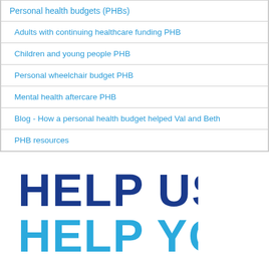| Personal health budgets (PHBs) |
| Adults with continuing healthcare funding PHB |
| Children and young people PHB |
| Personal wheelchair budget PHB |
| Mental health aftercare PHB |
| Blog - How a personal health budget helped Val and Beth |
| PHB resources |
[Figure (logo): HELP US HELP YOU logo in bold blue text, with 'HELP US' in dark navy blue and 'HELP YOU' in light blue]